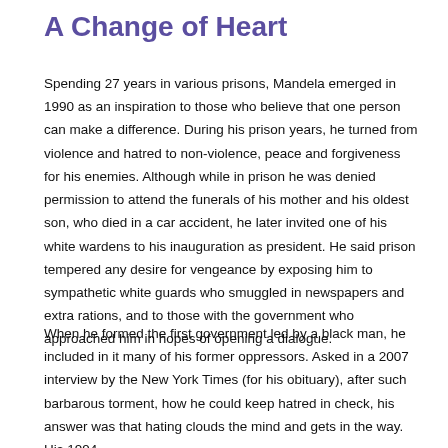A Change of Heart
Spending 27 years in various prisons, Mandela emerged in 1990 as an inspiration to those who believe that one person can make a difference. During his prison years, he turned from violence and hatred to non-violence, peace and forgiveness for his enemies. Although while in prison he was denied permission to attend the funerals of his mother and his oldest son, who died in a car accident, he later invited one of his white wardens to his inauguration as president. He said prison tempered any desire for vengeance by exposing him to sympathetic white guards who smuggled in newspapers and extra rations, and to those with the government who approached him in hopes of opening a dialogue.
When he formed the first government led by a black man, he included in it many of his former oppressors. Asked in a 2007 interview by the New York Times (for his obituary), after such barbarous torment, how he could keep hatred in check, his answer was that hating clouds the mind and gets in the way. His 1994